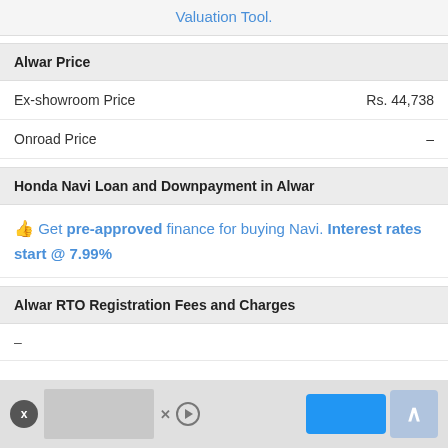Valuation Tool.
Alwar Price
|  |  |
| --- | --- |
| Ex-showroom Price | Rs. 44,738 |
| Onroad Price | – |
Honda Navi Loan and Downpayment in Alwar
Get pre-approved finance for buying Navi. Interest rates start @ 7.99%
Alwar RTO Registration Fees and Charges
–